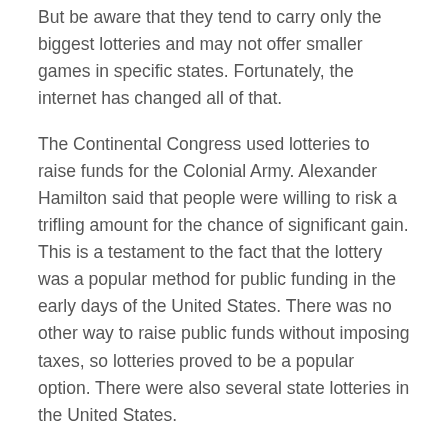But be aware that they tend to carry only the biggest lotteries and may not offer smaller games in specific states. Fortunately, the internet has changed all of that.
The Continental Congress used lotteries to raise funds for the Colonial Army. Alexander Hamilton said that people were willing to risk a trifling amount for the chance of significant gain. This is a testament to the fact that the lottery was a popular method for public funding in the early days of the United States. There was no other way to raise public funds without imposing taxes, so lotteries proved to be a popular option. There were also several state lotteries in the United States.
In addition to traditional lotteries, the lottery-style games have made their way into mainstream life, and today, you can find these games in many places. You can find them in supermarkets, gas stations, and gaming establishments. And if you happen to be visiting one of these locations, you can